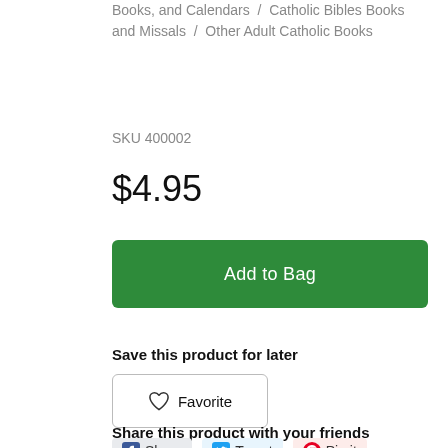Books, and Calendars / Catholic Bibles Books and Missals / Other Adult Catholic Books
SKU 400002
$4.95
Add to Bag
Save this product for later
Favorite
Share this product with your friends
Share  Tweet  Pin it